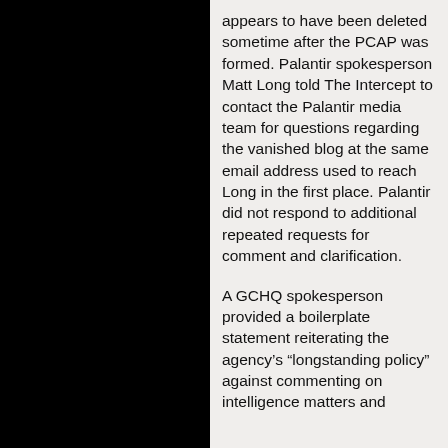appears to have been deleted sometime after the PCAP was formed. Palantir spokesperson Matt Long told The Intercept to contact the Palantir media team for questions regarding the vanished blog at the same email address used to reach Long in the first place. Palantir did not respond to additional repeated requests for comment and clarification.
A GCHQ spokesperson provided a boilerplate statement reiterating the agency’s “longstanding policy” against commenting on intelligence matters and